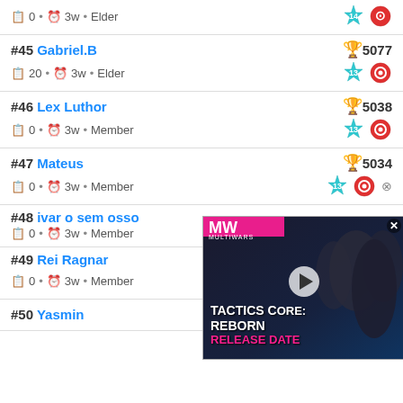0 • 3w • Elder — badges: 14, red
#45 Gabriel.B — 5077 trophies — 20 • 3w • Elder — badges: 13, red
#46 Lex Luthor — 5038 trophies — 0 • 3w • Member — badges: 13, red
#47 Mateus — 5034 trophies — 0 • 3w • Member — badges: 13, red
#48 ivar o sem osso — 0 • 3w • Member
#49 Rei Ragnar — 0 • 3w • Member — badges: 13, red
#50 Yasmin — 4273 trophies
[Figure (screenshot): Video ad overlay showing 'TACTICS CORE: REBORN RELEASE DATE' with MW logo and play button]